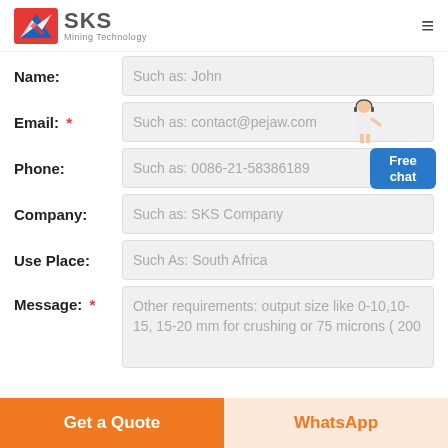[Figure (logo): SKS Mining Technology logo with red/blue geometric icon and company name]
Name: Such as: John
Email: * Such as: contact@pejaw.com
Phone: Such as: 0086-21-58386189
Company: Such as: SKS Company
Use Place: Such As: South Africa
Message: * Other requirements: output size like 0-10,10-15, 15-20 mm for crushing or 75 microns ( 200
Get a Quote
WhatsApp